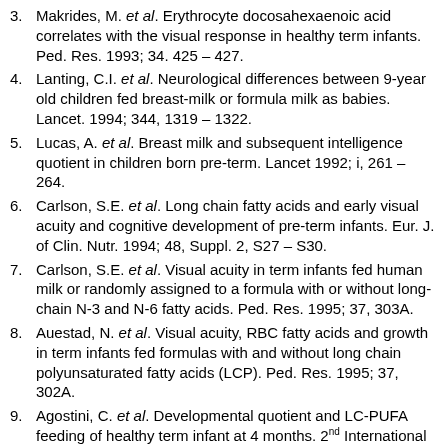3. Makrides, M. et al. Erythrocyte docosahexaenoic acid correlates with the visual response in healthy term infants. Ped. Res. 1993; 34. 425 – 427.
4. Lanting, C.I. et al. Neurological differences between 9-year old children fed breast-milk or formula milk as babies. Lancet. 1994; 344, 1319 – 1322.
5. Lucas, A. et al. Breast milk and subsequent intelligence quotient in children born pre-term. Lancet 1992; i, 261 – 264.
6. Carlson, S.E. et al. Long chain fatty acids and early visual acuity and cognitive development of pre-term infants. Eur. J. of Clin. Nutr. 1994; 48, Suppl. 2, S27 – S30.
7. Carlson, S.E. et al. Visual acuity in term infants fed human milk or randomly assigned to a formula with or without long-chain N-3 and N-6 fatty acids. Ped. Res. 1995; 37, 303A.
8. Auestad, N. et al. Visual acuity, RBC fatty acids and growth in term infants fed formulas with and without long chain polyunsaturated fatty acids (LCP). Ped. Res. 1995; 37, 302A.
9. Agostini, C. et al. Developmental quotient and LC-PUFA feeding of healthy term infant at 4 months. 2nd International Congress of the International Society for the Study of Fatty Acids and Lipids. No 52. 1995